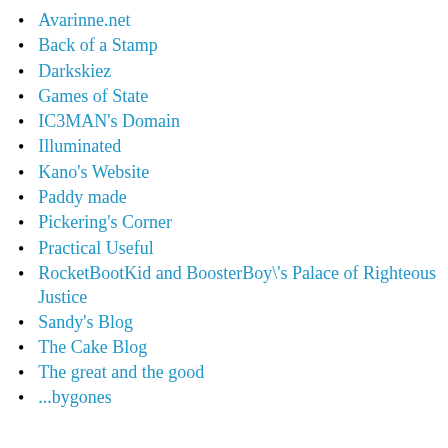Avarinne.net
Back of a Stamp
Darkskiez
Games of State
IC3MAN's Domain
Illuminated
Kano's Website
Paddy made
Pickering's Corner
Practical Useful
RocketBootKid and BoosterBoy\'s Palace of Righteous Justice
Sandy's Blog
The Cake Blog
The great and the good
...bygones